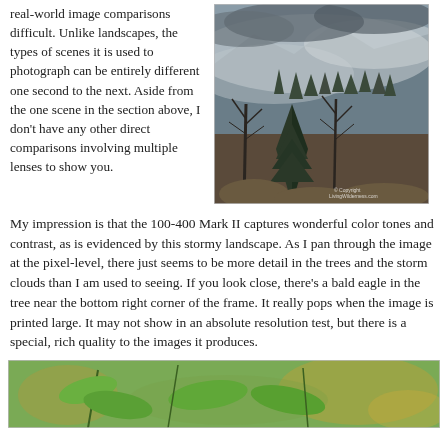real-world image comparisons difficult. Unlike landscapes, the types of scenes it is used to photograph can be entirely different one second to the next. Aside from the one scene in the section above, I don't have any other direct comparisons involving multiple lenses to show you.
[Figure (photo): Stormy landscape photo showing misty mountains with bare trees in the foreground, dark storm clouds above. Copyright notice visible in bottom right corner: LivingWilderness.com]
My impression is that the 100-400 Mark II captures wonderful color tones and contrast, as is evidenced by this stormy landscape. As I pan through the image at the pixel-level, there just seems to be more detail in the trees and the storm clouds than I am used to seeing. If you look close, there's a bald eagle in the tree near the bottom right corner of the frame. It really pops when the image is printed large. It may not show in an absolute resolution test, but there is a special, rich quality to the images it produces.
[Figure (photo): Close-up nature photo showing green leaves and a branch with blurred golden/brown bokeh background.]